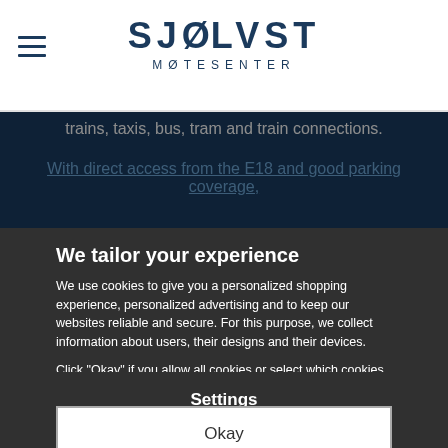SJØLVST MØTESENTER
trains, taxis, bus, tram and train connections.
With direct access from the E18 and good parking coverage,
We tailor your experience
We use cookies to give you a personalized shopping experience, personalized advertising and to keep our websites reliable and secure. For this purpose, we collect information about users, their designs and their devices.
Click "Okay" if you allow all cookies or select which cookies you allow and which you want to turn off by clicking on "Settings" below.
Settings
Okay